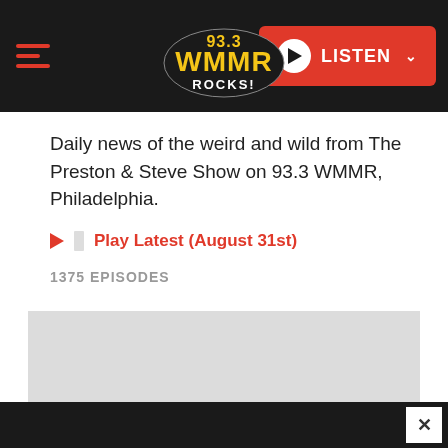[Figure (logo): 93.3 WMMR Rocks! radio station logo with hamburger menu and LISTEN button in dark header bar]
Daily news of the weird and wild from The Preston & Steve Show on 93.3 WMMR, Philadelphia.
Play Latest (August 31st)
1375 EPISODES
[Figure (other): Gray placeholder content area with red scroll-to-top button]